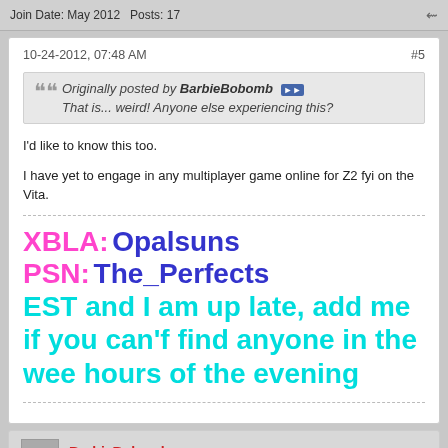Join Date: May 2012   Posts: 17
10-24-2012, 07:48 AM   #5
Originally posted by BarbieBobomb
That is... weird! Anyone else experiencing this?
I'd like to know this too.
I have yet to engage in any multiplayer game online for Z2 fyi on the Vita.
XBLA: Opalsuns
PSN: The_Perfects
EST and I am up late, add me if you can'f find anyone in the wee hours of the evening
BarbieBobomb